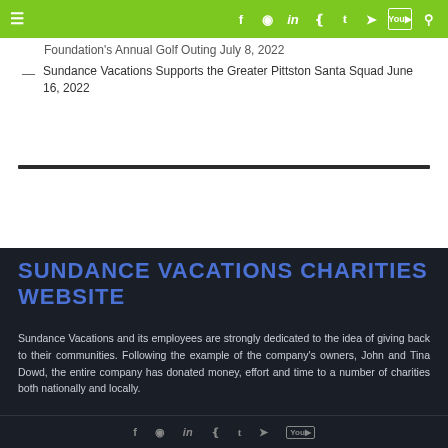Navigation and social media icons bar
Foundation's Annual Golf Outing July 8, 2022
Sundance Vacations Supports the Greater Pittston Santa Squad June 16, 2022
My Tweets
SUNDANCE VACATIONS CHARITIES WEBSITE
Sundance Vacations and its employees are strongly dedicated to the idea of giving back to their communities. Following the example of the company's owners, John and Tina Dowd, the entire company has donated money, effort and time to a number of charities both nationally and locally.
Social media icons footer